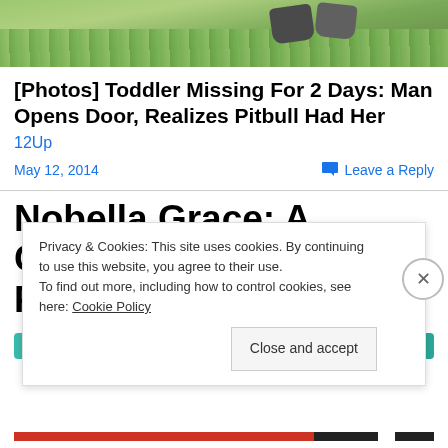[Figure (photo): Partial view of grass and a person's feet/shoes at the top of the page]
[Photos] Toddler Missing For 2 Days: Man Opens Door, Realizes Pitbull Had Her
12Up
May 12, 2014
Leave a Reply
Nobella Grace: A Costal, Boho Chic , Free Loving Boutique
Privacy & Cookies: This site uses cookies. By continuing to use this website, you agree to their use.
To find out more, including how to control cookies, see here: Cookie Policy
Close and accept